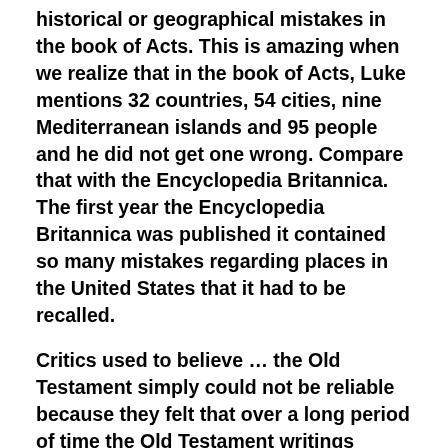historical or geographical mistakes in the book of Acts. This is amazing when we realize that in the book of Acts, Luke mentions 32 countries, 54 cities, nine Mediterranean islands and 95 people and he did not get one wrong. Compare that with the Encyclopedia Britannica. The first year the Encyclopedia Britannica was published it contained so many mistakes regarding places in the United States that it had to be recalled.
Critics used to believe … the Old Testament simply could not be reliable because they felt that over a long period of time the Old Testament writings would have been changed, altered, edited or corrupted.
But then … in 1947, the Dead Sea Scrolls were discovered. These scrolls contained, among other